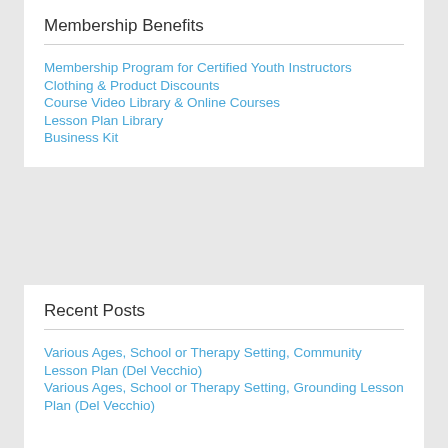Membership Benefits
Membership Program for Certified Youth Instructors
Clothing & Product Discounts
Course Video Library & Online Courses
Lesson Plan Library
Business Kit
Recent Posts
Various Ages, School or Therapy Setting, Community Lesson Plan (Del Vecchio)
Various Ages, School or Therapy Setting, Grounding Lesson Plan (Del Vecchio)